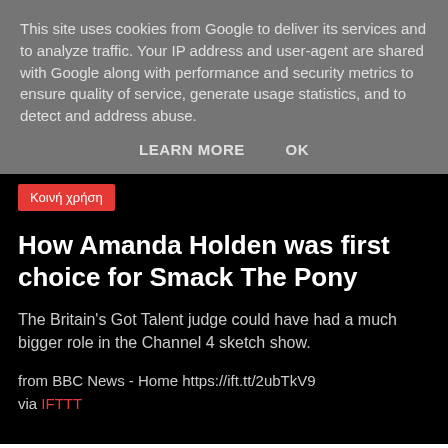This site uses cookies from Google to deliver its services and to analyze traffic. Your IP address and user-agent are shared with Google along with performance and security metrics to ensure quality of service, generate usage statistics, and to detect and address abuse.
LEARN MORE    OK
Κοινή χρήση
How Amanda Holden was first choice for Smack The Pony
The Britain's Got Talent judge could have had a much bigger role in the Channel 4 sketch show.
from BBC News - Home https://ift.tt/2ubTkV9
via IFTTT